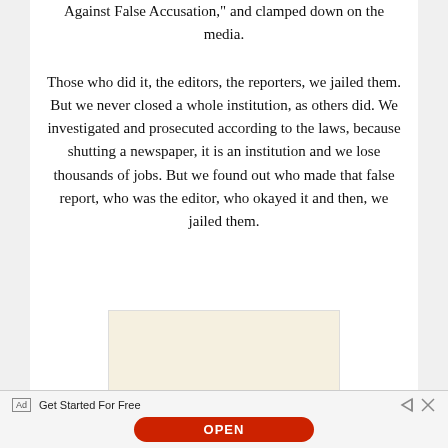Against False Accusation," and clamped down on the media.
Those who did it, the editors, the reporters, we jailed them. But we never closed a whole institution, as others did. We investigated and prosecuted according to the laws, because shutting a newspaper, it is an institution and we lose thousands of jobs. But we found out who made that false report, who was the editor, who okayed it and then, we jailed them.
[Figure (other): Advertisement placeholder box with light beige/cream background]
Ad  Get Started For Free  OPEN